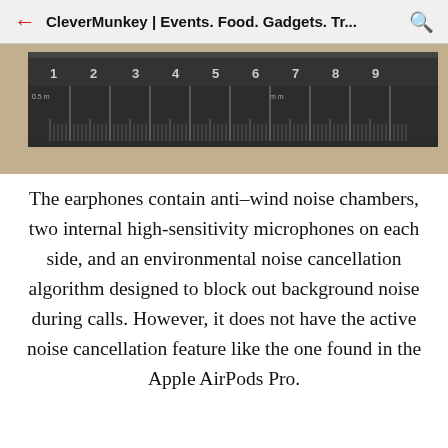CleverMunkey | Events. Food. Gadgets. Tr...
[Figure (photo): Close-up photograph of a metal ruler showing millimeter markings, with watermark WWW.CLEVERMUNKEY.COM at the bottom center]
The earphones contain anti–wind noise chambers, two internal high-sensitivity microphones on each side, and an environmental noise cancellation algorithm designed to block out background noise during calls. However, it does not have the active noise cancellation feature like the one found in the Apple AirPods Pro.